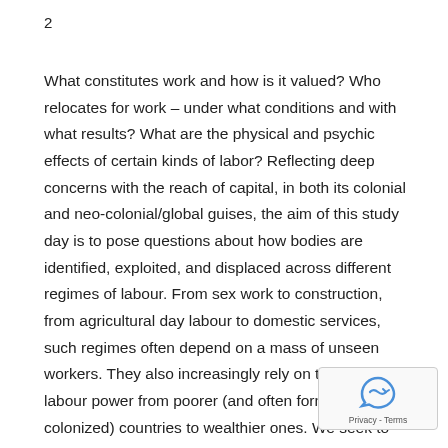2
What constitutes work and how is it valued? Who relocates for work – under what conditions and with what results? What are the physical and psychic effects of certain kinds of labor? Reflecting deep concerns with the reach of capital, in both its colonial and neo-colonial/global guises, the aim of this study day is to pose questions about how bodies are identified, exploited, and displaced across different regimes of labour. From sex work to construction, from agricultural day labour to domestic services, such regimes often depend on a mass of unseen workers. They also increasingly rely on the transfer of labour power from poorer (and often formerly colonized) countries to wealthier ones. We seek to make visible the invisible work sustaining the new global economy and to interrogate the relationship betwee